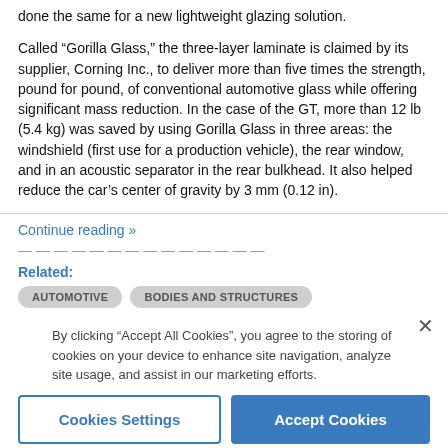done the same for a new lightweight glazing solution.
Called “Gorilla Glass,” the three-layer laminate is claimed by its supplier, Corning Inc., to deliver more than five times the strength, pound for pound, of conventional automotive glass while offering significant mass reduction. In the case of the GT, more than 12 lb (5.4 kg) was saved by using Gorilla Glass in three areas: the windshield (first use for a production vehicle), the rear window, and in an acoustic separator in the rear bulkhead. It also helped reduce the car’s center of gravity by 3 mm (0.12 in).
Continue reading »
Related:
AUTOMOTIVE
BODIES AND STRUCTURES
By clicking “Accept All Cookies”, you agree to the storing of cookies on your device to enhance site navigation, analyze site usage, and assist in our marketing efforts.
Cookies Settings
Accept Cookies